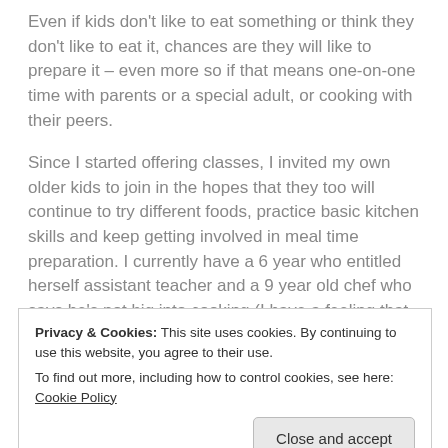Even if kids don't like to eat something or think they don't like to eat it, chances are they will like to prepare it – even more so if that means one-on-one time with parents or a special adult, or cooking with their peers.
Since I started offering classes, I invited my own older kids to join in the hopes that they too will continue to try different foods, practice basic kitchen skills and keep getting involved in meal time preparation. I currently have a 6 year who entitled herself assistant teacher and a 9 year old chef who says he's not big into cooking (I have a feeling that being in a class when your Mom is
Privacy & Cookies: This site uses cookies. By continuing to use this website, you agree to their use.
To find out more, including how to control cookies, see here: Cookie Policy
but the biggest a-ha moment for me was the day I